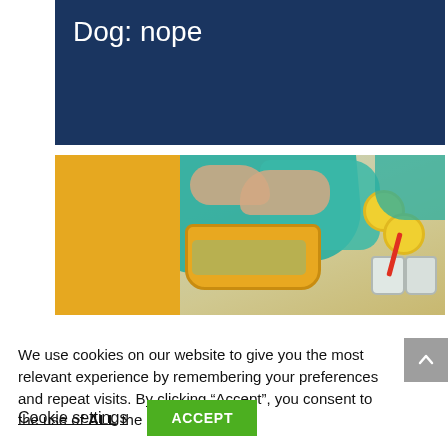Dog: nope
[Figure (photo): Food photo showing hands wrapping food in teal cloth with yellow bowl of olives, lemon slices, and jars on a wooden surface with orange background]
We use cookies on our website to give you the most relevant experience by remembering your preferences and repeat visits. By clicking “Accept”, you consent to the use of ALL the cookies.
Cookie settings
ACCEPT